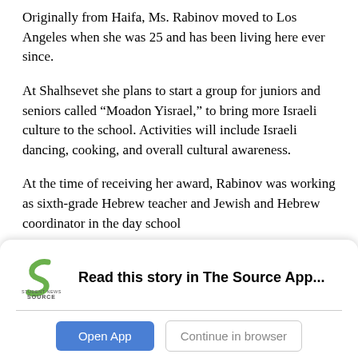Originally from Haifa, Ms. Rabinov moved to Los Angeles when she was 25 and has been living here ever since.
At Shalhsevet she plans to start a group for juniors and seniors called “Moadon Yisrael,” to bring more Israeli culture to the school. Activities will include Israeli dancing, cooking, and overall cultural awareness.
At the time of receiving her award, Rabinov was working as sixth-grade Hebrew teacher and Jewish and Hebrew coordinator in the day school
[Figure (other): Student News Source app banner with logo, 'Read this story in The Source App...' text, Open App button, and Continue in browser button]